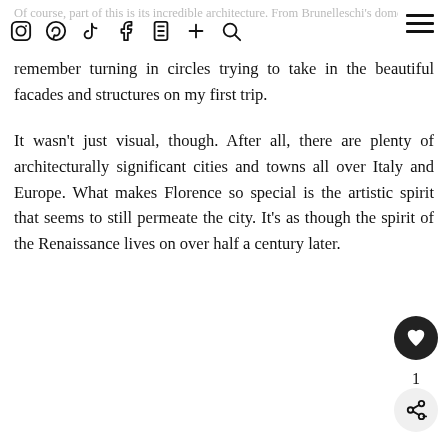Of course, part of this is its incredible architecture. From Brunelleschi's dome to Ponte Vecchio to the Uffizi Gallery, I
remember turning in circles trying to take in the beautiful facades and structures on my first trip.

It wasn't just visual, though. After all, there are plenty of architecturally significant cities and towns all over Italy and Europe. What makes Florence so special is the artistic spirit that seems to still permeate the city. It's as though the spirit of the Renaissance lives on over half a century later.